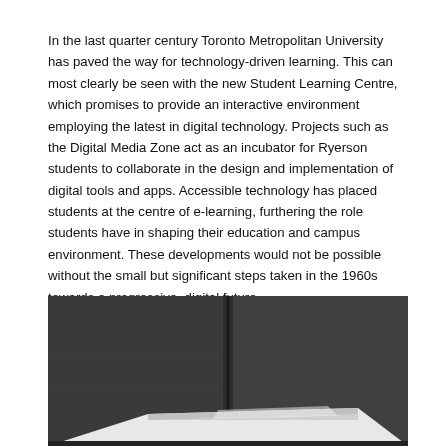In the last quarter century Toronto Metropolitan University has paved the way for technology-driven learning. This can most clearly be seen with the new Student Learning Centre, which promises to provide an interactive environment employing the latest in digital technology. Projects such as the Digital Media Zone act as an incubator for Ryerson students to collaborate in the design and implementation of digital tools and apps. Accessible technology has placed students at the centre of e-learning, furthering the role students have in shaping their education and campus environment. These developments would not be possible without the small but significant steps taken in the 1960s towards a progressive, digital future.
[Figure (photo): Black and white photograph of a modern room interior showing dark paneled walls meeting at a corner, with a white desk or table surface visible in the lower portion of the frame.]